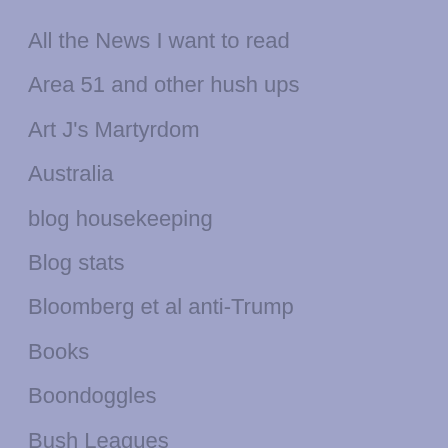All the News I want to read
Area 51 and other hush ups
Art J's Martyrdom
Australia
blog housekeeping
Blog stats
Bloomberg et al anti-Trump
Books
Boondoggles
Bush Leagues
Caucuses
China
Civil Rights
civility